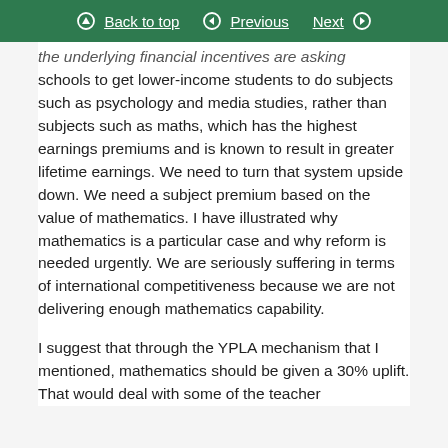Back to top  Previous  Next
the underlying financial incentives are asking schools to get lower-income students to do subjects such as psychology and media studies, rather than subjects such as maths, which has the highest earnings premiums and is known to result in greater lifetime earnings. We need to turn that system upside down. We need a subject premium based on the value of mathematics. I have illustrated why mathematics is a particular case and why reform is needed urgently. We are seriously suffering in terms of international competitiveness because we are not delivering enough mathematics capability.
I suggest that through the YPLA mechanism that I mentioned, mathematics should be given a 30% uplift. That would deal with some of the teacher supply and recruitment difficulties for lower-ranked...